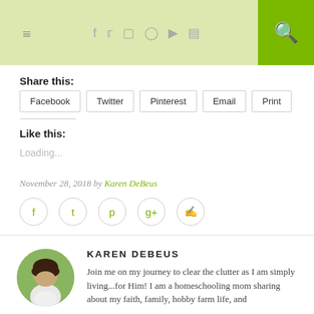Navigation header with hamburger menu, social icons (Facebook, Twitter, Instagram, Pinterest, YouTube, SoundCloud), and search button
Share this:
Facebook
Twitter
Pinterest
Email
Print
Like this:
Loading...
November 28, 2018 by Karen DeBeus
[Figure (other): Social sharing circle icon buttons: Facebook, Twitter, Pinterest, Google+, Comment]
KAREN DEBEUS
[Figure (photo): Circular profile photo of Karen DeBeus, a woman with dark hair, wearing a white top, outdoors with green background]
Join me on my journey to clear the clutter as I am simply living...for Him! I am a homeschooling mom sharing about my faith, family, hobby farm life, and